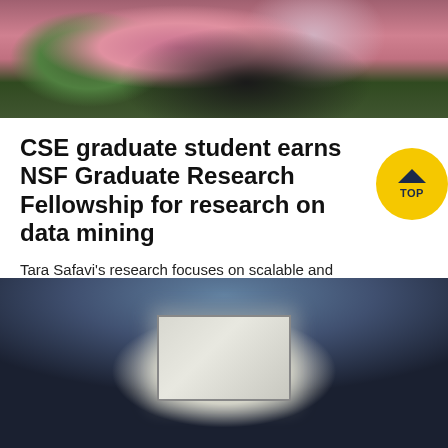[Figure (photo): Close-up photo of a person with dark hair against a background of pink blossoms and green foliage]
CSE graduate student earns NSF Graduate Research Fellowship for research on data mining
Tara Safavi's research focuses on scalable and adaptive data mining algorithms using tools like hashing and sampling.
[Figure (photo): Nighttime outdoor photo of a brick building with an inflatable outdoor movie screen showing a film, surrounded by trees and audience area]